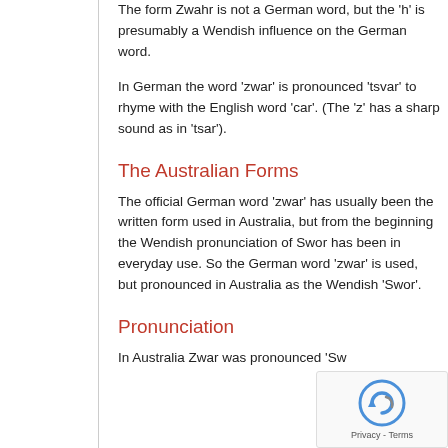The form Zwahr is not a German word, but the 'h' is presumably a Wendish influence on the German word.
In German the word 'zwar' is pronounced 'tsvar' to rhyme with the English word 'car'. (The 'z' has a sharp sound as in 'tsar').
The Australian Forms
The official German word 'zwar' has usually been the written form used in Australia, but from the beginning the Wendish pronunciation of Swor has been in everyday use. So the German word 'zwar' is used, but pronounced in Australia as the Wendish 'Swor'.
Pronunciation
In Australia Zwar was pronounced 'Sw... to rhyme with... the S...